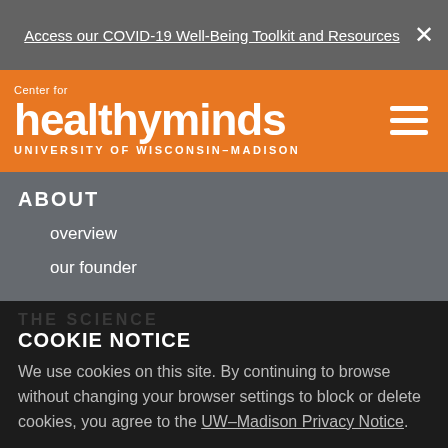Access our COVID-19 Well-Being Toolkit and Resources
[Figure (logo): Center for Healthy Minds, University of Wisconsin-Madison logo on orange background with hamburger menu icon]
ABOUT
overview
our founder
COOKIE NOTICE
We use cookies on this site. By continuing to browse without changing your browser settings to block or delete cookies, you agree to the UW-Madison Privacy Notice.
GOT IT!
CONTACT
general inquiries